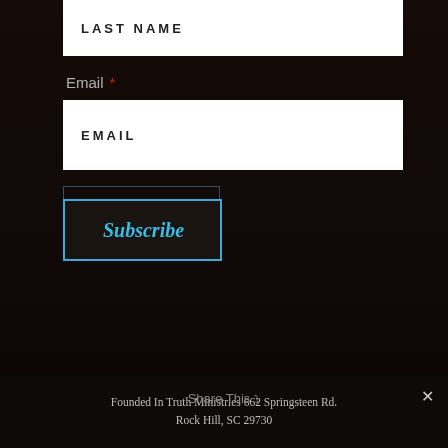LAST NAME
Email *
EMAIL
Subscribe
Founded In Truth Ministries 662 Springsteen Rd. Rock Hill, SC 29730
Share This